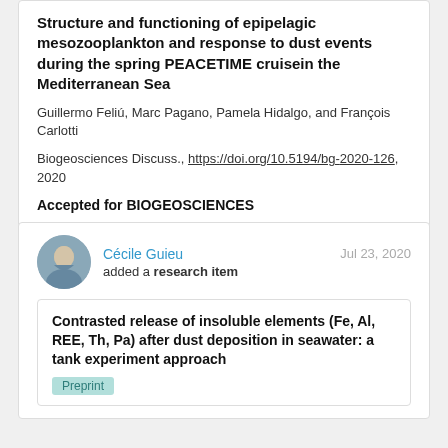Structure and functioning of epipelagic mesozooplankton and response to dust events during the spring PEACETIME cruisein the Mediterranean Sea
Guillermo Feliú, Marc Pagano, Pamela Hidalgo, and François Carlotti
Biogeosciences Discuss., https://doi.org/10.5194/bg-2020-126, 2020
Accepted for BIOGEOSCIENCES
Share
65 Reads
Cécile Guieu
Jul 23, 2020
added a research item
Contrasted release of insoluble elements (Fe, Al, REE, Th, Pa) after dust deposition in seawater: a tank experiment approach
Preprint